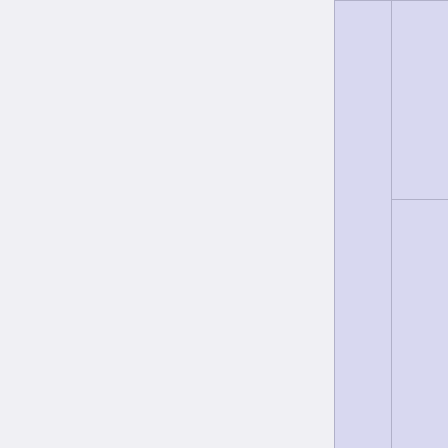| (merged) | Category | Items |
| --- | --- | --- |
|  | Sharpshooter | Crossbow · HRG Beluga · Rail Gun · R... · Compound... · Kukri · Free... |
|  | SWAT | MP7 SMG · HRG Nailgu... · Heckler & K... · Riot Shield · HRG Bastic... · Tactical Kni... |
|  | Survivalist | Freezethrow... · HRG Arc G... · Gore Shiv |
|  | Other | 9mm Pistol · Doshinegur... |
|  | Equipment | Combat Arr... · Battery · Ca... |
|  | (maps) | Biotics Lab · Outpost · Burning... · Catacombs · Evacuation Point... · Prison · Containment Station · ZED Landing · Nuked · Locko... |